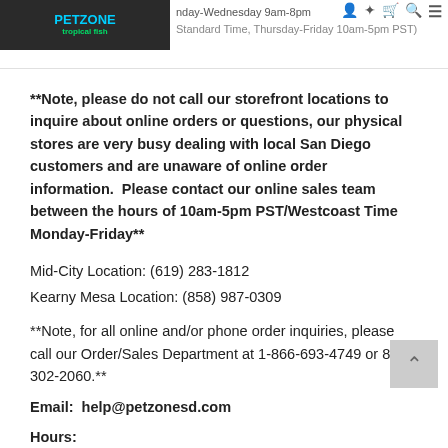PETZONE tropical fish | Monday-Wednesday 9am-8pm Pacific Standard Time, Thursday-Friday 10am-5pm PST)
**Note, please do not call our storefront locations to inquire about online orders or questions, our physical stores are very busy dealing with local San Diego customers and are unaware of online order information.  Please contact our online sales team between the hours of 10am-5pm PST/Westcoast Time Monday-Friday**
Mid-City Location: (619) 283-1812
Kearny Mesa Location: (858) 987-0309
**Note, for all online and/or phone order inquiries, please call our Order/Sales Department at 1-866-693-4749 or 858-302-2060.**
Email:  help@petzonesd.com
Hours: